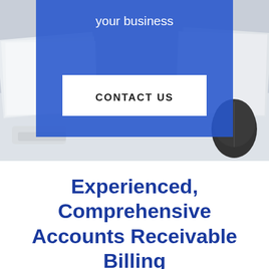[Figure (photo): Hero image showing office desk with stacked papers and computer mouse, overlaid with a blue rectangle. White text reads 'your business' and a white button reads 'CONTACT US'.]
Experienced, Comprehensive Accounts Receivable Billing